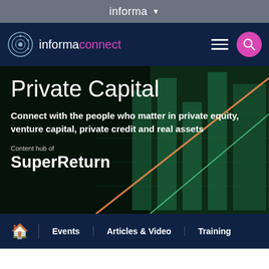informa ▾
[Figure (logo): Informa Connect logo with circular globe icon, white text 'informa' and pink text 'connect' on navy background, with hamburger menu and pink search button]
Private Capital
Connect with the people who matter in private equity, venture capital, private credit and real assets
Content hub of
SuperReturn
🏠  Events  Articles & Video  Training